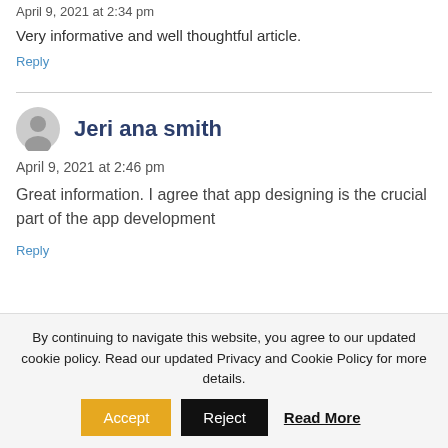April 9, 2021 at 2:34 pm
Very informative and well thoughtful article.
Reply
Jeri ana smith
April 9, 2021 at 2:46 pm
Great information. I agree that app designing is the crucial part of the app development
Reply
By continuing to navigate this website, you agree to our updated cookie policy. Read our updated Privacy and Cookie Policy for more details.